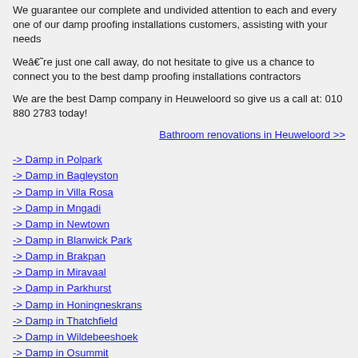We guarantee our complete and undivided attention to each and every one of our damp proofing installations customers, assisting with your needs
Weâ€˜re just one call away, do not hesitate to give us a chance to connect you to the best damp proofing installations contractors
We are the best Damp company in Heuweloord so give us a call at: 010 880 2783 today!
Bathroom renovations in Heuweloord >>
-> Damp in Polpark
-> Damp in Bagleyston
-> Damp in Villa Rosa
-> Damp in Mngadi
-> Damp in Newtown
-> Damp in Blanwick Park
-> Damp in Brakpan
-> Damp in Miravaal
-> Damp in Parkhurst
-> Damp in Honingneskrans
-> Damp in Thatchfield
-> Damp in Wildebeeshoek
-> Damp in Osummit
-> Damp in Tek
-> Damp in Basseville